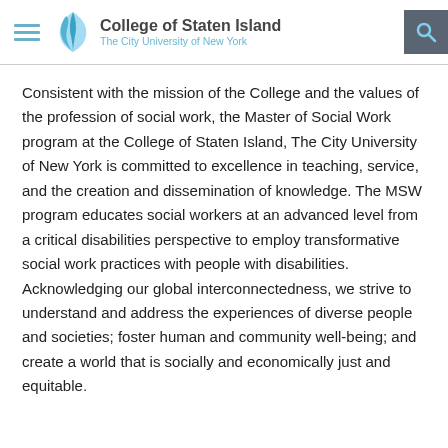College of Staten Island – The City University of New York
Consistent with the mission of the College and the values of the profession of social work, the Master of Social Work program at the College of Staten Island, The City University of New York is committed to excellence in teaching, service, and the creation and dissemination of knowledge. The MSW program educates social workers at an advanced level from a critical disabilities perspective to employ transformative social work practices with people with disabilities. Acknowledging our global interconnectedness, we strive to understand and address the experiences of diverse people and societies; foster human and community well-being; and create a world that is socially and economically just and equitable.